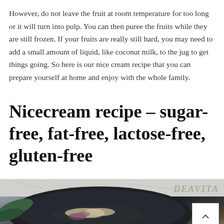However, do not leave the fruit at room temperature for too long or it will turn into pulp. You can then puree the fruits while they are still frozen. If your fruits are really still hard, you may need to add a small amount of liquid, like coconut milk, to the jug to get things going. So here is our nice cream recipe that you can prepare yourself at home and enjoy with the whole family.
Nicecream recipe – sugar-free, fat-free, lactose-free, gluten-free
[Figure (photo): Photo of a dark bowl containing nicecream with toppings such as crumbled nuts and fruit swirls, placed on a light marble-like surface with green leaves visible. DEAVITA watermark in top right corner with a white scroll-up button below it.]